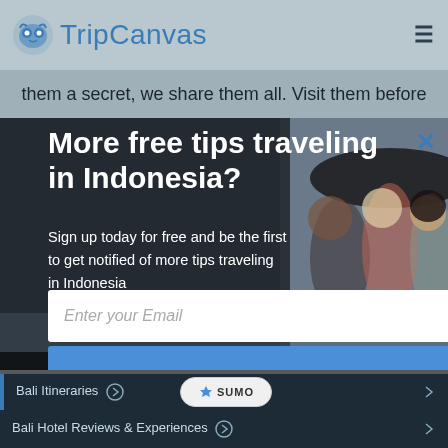TripCanvas
them a secret, we share them all. Visit them before
More free tips traveling in Indonesia?
Sign up today for free and be the first to get notified of more tips traveling in Indonesia
Enter your Email
Free Subscribe
no, thanks
Bali Itineraries ▶
Bali Hotel Reviews & Experiences ▶